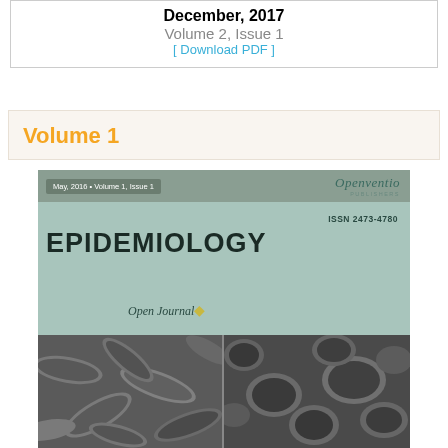December, 2017
Volume 2, Issue 1
[ Download PDF ]
Volume 1
[Figure (photo): Journal cover for Epidemiology Open Journal, May 2016, Volume 1, Issue 1. Published by Openventio Publishers. ISSN 2473-4780. Cover features two electron microscope images of bacteria side by side on a teal/grey background.]